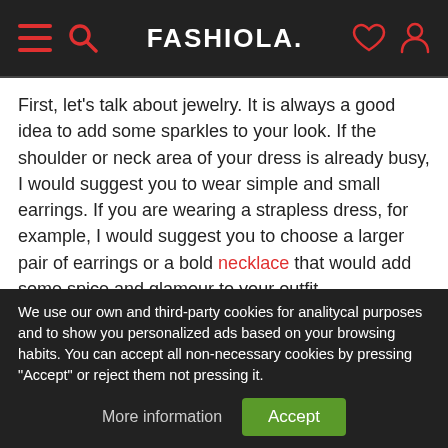FASHIOLA.
First, let's talk about jewelry. It is always a good idea to add some sparkles to your look. If the shoulder or neck area of your dress is already busy, I would suggest you to wear simple and small earrings. If you are wearing a strapless dress, for example, I would suggest you to choose a larger pair of earrings or a bold necklace that would add some spice and glamour to your outfit.
Then, another important element of your prom look to consider is your purse. As we already know, a purse is a girl's best friend, and it is definitely not letting you down on
We use our own and third-party cookies for analitycal purposes and to show you personalized ads based on your browsing habits. You can accept all non-necessary cookies by pressing "Accept" or reject them not pressing it.
More information | Accept